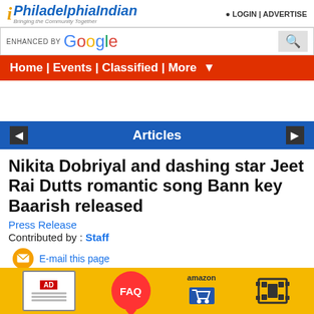PhiladelphiaIndian - Bringing the Community Together | LOGIN | ADVERTISE
ENHANCED BY Google
Home | Events | Classified | More
Articles
Nikita Dobriyal and dashing star Jeet Rai Dutts romantic song Bann key Baarish released
Press Release
Contributed by : Staff
E-mail this page
Add To My Favorite
Everyone is getting romantic in this rainy season. In such wet weather, the very
[Figure (photo): Thumbnail image of article featuring Nikita Dobriyal and Jeet Rai Dutt]
AD | FAQ | amazon | film icon